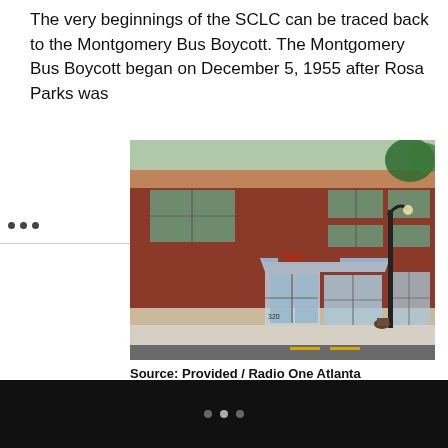The very beginnings of the SCLC can be traced back to the Montgomery Bus Boycott. The Montgomery Bus Boycott began on December 5, 1955 after Rosa Parks was
[Figure (photo): Exterior photograph of a red brick two-story building with SCLC signage and address numbers 320 visible, with a street lamp and trees in the background.]
Source: Provided / Radio One Atlanta